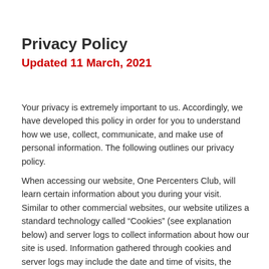Privacy Policy
Updated 11 March, 2021
Your privacy is extremely important to us. Accordingly, we have developed this policy in order for you to understand how we use, collect, communicate, and make use of personal information. The following outlines our privacy policy.
When accessing our website, One Percenters Club, will learn certain information about you during your visit. Similar to other commercial websites, our website utilizes a standard technology called “Cookies” (see explanation below) and server logs to collect information about how our site is used. Information gathered through cookies and server logs may include the date and time of visits, the pages viewed, time spent at our site, and the websites visited just